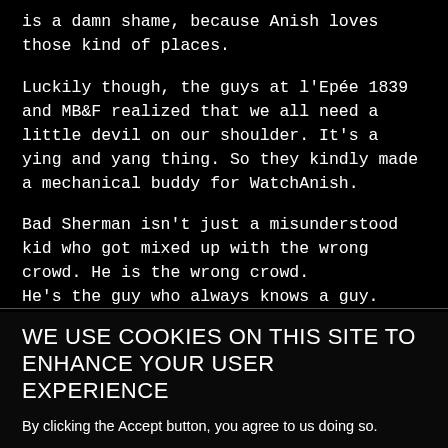is a damn shame, because Anish loves those kind of places.
Luckily though, the guys at l'Epée 1839 and MB&F realized that we all need a little devil on our shoulder. It's a ying and yang thing. So they kindly made a mechanical buddy for WatchAnish.
Bad Sherman isn't just a misunderstood kid who got mixed up with the wrong crowd. He is the wrong crowd.
He's the guy who always knows a guy. Whether
WE USE COOKIES ON THIS SITE TO ENHANCE YOUR USER EXPERIENCE
By clicking the Accept button, you agree to us doing so.